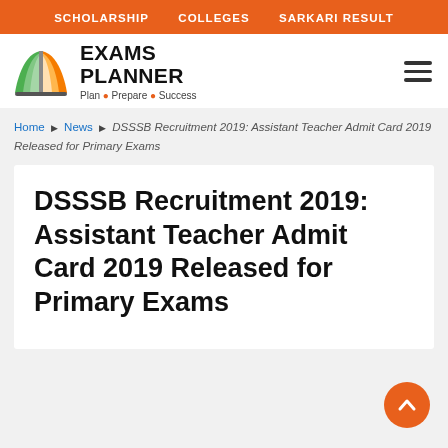SCHOLARSHIP   COLLEGES   SARKARI RESULT
[Figure (logo): Exams Planner logo with open book icon in green and orange, text 'EXAMS PLANNER' and tagline 'Plan • Prepare • Success']
Home ▶ News ▶ DSSSB Recruitment 2019: Assistant Teacher Admit Card 2019 Released for Primary Exams
DSSSB Recruitment 2019: Assistant Teacher Admit Card 2019 Released for Primary Exams